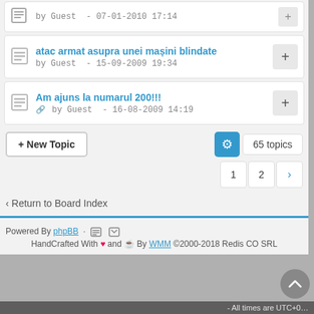by Guest - 07-01-2010 17:14
atac armat asupra unei mașini blindate
by Guest - 15-09-2009 19:34
Am ajuns la numarul 200!!!
by Guest - 16-08-2009 14:19
+ New Topic
65 topics
1  2  ›
‹ Return to Board Index
Powered By phpBB · HandCrafted With ♥ and ☕ By WMM ©2000-2018 Redis CO SRL
- All times are UTC+0…